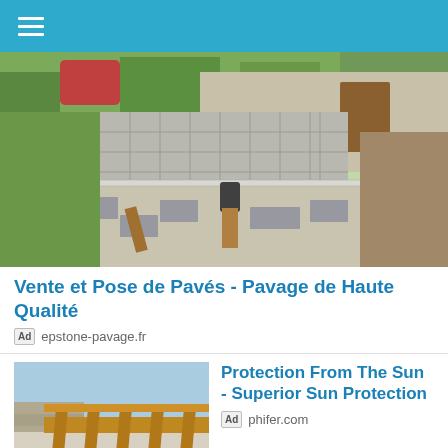Navigation menu
[Figure (photo): Paving stones being laid in a garden path, with wheelbarrow, rubber mallet, and measuring tools visible on gravel bed]
Vente et Pose de Pavés - Pavage de Haute Qualité
Ad  epstone-pavage.fr
[Figure (photo): Exterior of a modern building with wooden pergola slats and stone wall, sky in background]
Protection From The Sun - Superior Sun Protection
Ad  phifer.com